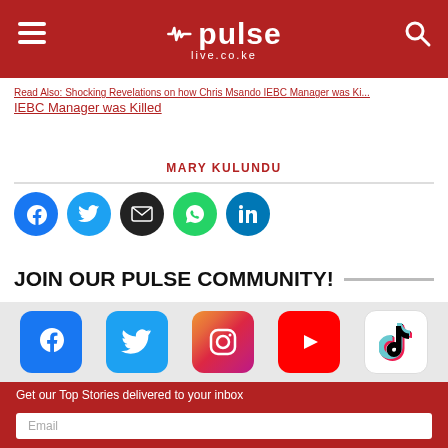pulse live.co.ke
IEBC Manager was Killed
MARY KULUNDU
[Figure (infographic): Social share icons: Facebook, Twitter, Email, WhatsApp, LinkedIn]
JOIN OUR PULSE COMMUNITY!
[Figure (infographic): Social media icons on light gray bar: Facebook, Twitter, Instagram, YouTube, TikTok]
Get our Top Stories delivered to your inbox
Email